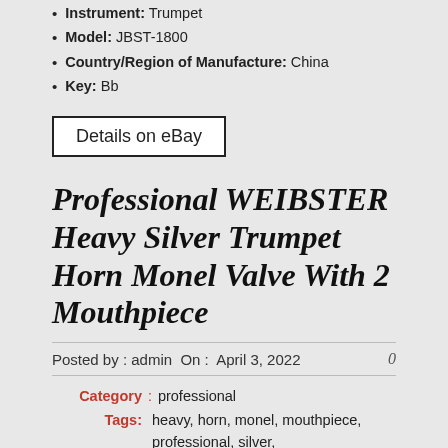Instrument: Trumpet
Model: JBST-1800
Country/Region of Manufacture: China
Key: Bb
Details on eBay
Professional WEIBSTER Heavy Silver Trumpet Horn Monel Valve With 2 Mouthpiece
Posted by : admin  On :  April 3, 2022   0
Category : professional
Tags: heavy, horn, monel, mouthpiece, professional, silver, trumpet, valve, weibster